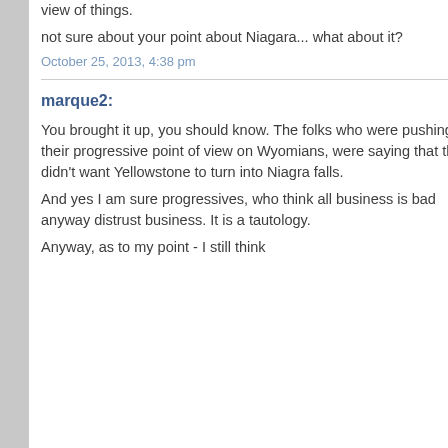view of things.
not sure about your point about Niagara... what about it?
October 25, 2013, 4:38 pm
marque2:
You brought it up, you should know. The folks who were pushing their progressive point of view on Wyomians, were saying that they didn't want Yellowstone to turn into Niagra falls.
And yes I am sure progressives, who think all business is bad anyway distrust business. It is a tautology.
Anyway, as to my point - I still think